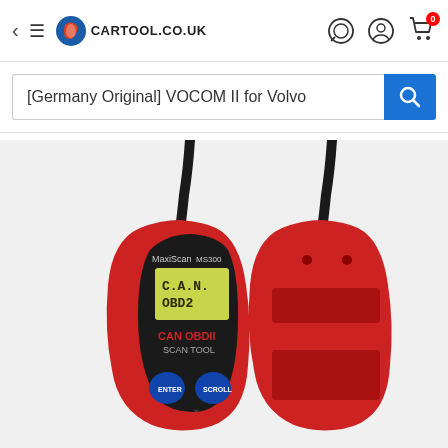cartool.co.uk navigation header with back arrow, hamburger menu, logo, chat, account, and cart icons
[Germany Original] VOCOM II for Volvo
[Figure (photo): Two OBD2 diagnostic scan tools (MaxiScan MS300 CAN OBDII Scan Tool) shown front and back view, red plastic body with black face panel, yellow LCD screen showing C.A.N. OBD2, blue ENTER and SCROLL buttons, connected with black cable at top]